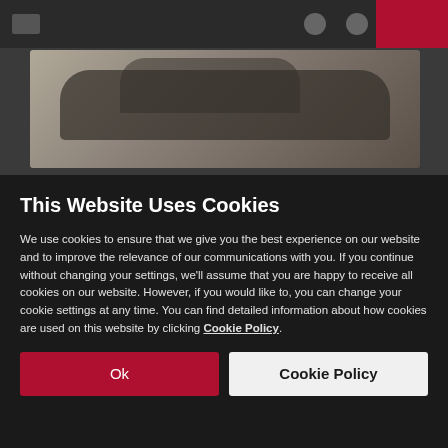[Figure (screenshot): Blurred website background showing a dark navigation bar at the top with a hamburger menu icon on the left and a red button on the right, and a hero image area showing what appears to be a car or vehicle on a grey/brown surface.]
This Website Uses Cookies
We use cookies to ensure that we give you the best experience on our website and to improve the relevance of our communications with you. If you continue without changing your settings, we'll assume that you are happy to receive all cookies on our website. However, if you would like to, you can change your cookie settings at any time. You can find detailed information about how cookies are used on this website by clicking Cookie Policy.